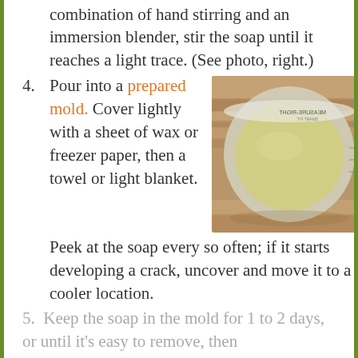combination of hand stirring and an immersion blender, stir the soap until it reaches a light trace. (See photo, right.)
4. Pour into a prepared mold. Cover lightly with a sheet of wax or freezer paper, then a towel or light blanket. Peek at the soap every so often; if it starts developing a crack, uncover and move it to a cooler location.
[Figure (photo): Top-down view of a clear plastic container filled with pale yellow soap batter at light trace, sitting on a wooden surface. The container has measurement markings and text visible on the rim.]
5. Keep the soap in the mold for 1 to 2 days, or until it's easy to remove, then